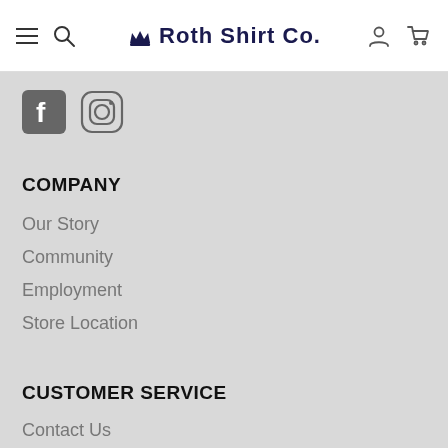Roth Shirt Co. — Navigation bar with hamburger, search, account, and cart icons
[Figure (other): Social media icons: Facebook square icon and Instagram camera icon]
COMPANY
Our Story
Community
Employment
Store Location
CUSTOMER SERVICE
Contact Us